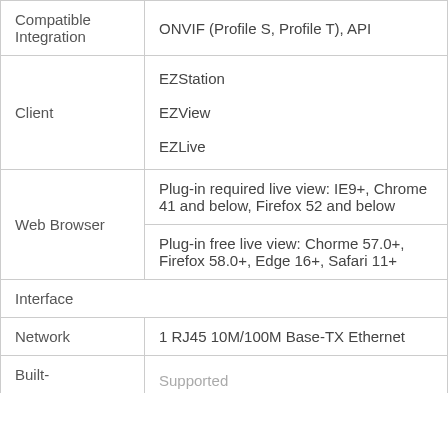| Feature | Details |
| --- | --- |
| Compatible Integration | ONVIF (Profile S, Profile T), API |
| Client | EZStation
EZView
EZLive |
| Web Browser | Plug-in required live view: IE9+, Chrome 41 and below, Firefox 52 and below
Plug-in free live view: Chorme 57.0+, Firefox 58.0+, Edge 16+, Safari 11+ |
| Interface |  |
| Network | 1 RJ45 10M/100M Base-TX Ethernet |
| Built- | Supported |